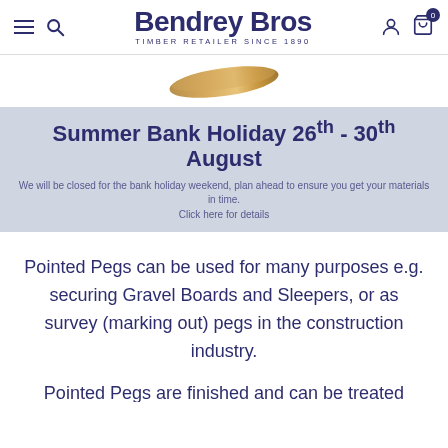Bendrey Bros — TIMBER RETAILER SINCE 1890
[Figure (photo): Partial product image showing wooden pointed peg at the top of the page]
Summer Bank Holiday 26th - 30th August
We will be closed for the bank holiday weekend, plan ahead to ensure you get your materials in time. Click here for details
Pointed Pegs can be used for many purposes e.g. securing Gravel Boards and Sleepers, or as survey (marking out) pegs in the construction industry.
Pointed Pegs are finished and can be treated...